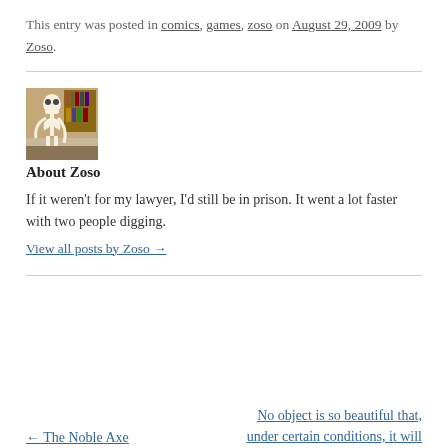This entry was posted in comics, games, zoso on August 29, 2009 by Zoso.
[Figure (photo): Photo of a skeleton sitting in a room with bookshelves, used as author avatar for Zoso]
About Zoso
If it weren't for my lawyer, I'd still be in prison. It went a lot faster with two people digging.
View all posts by Zoso →
← The Noble Axe
No object is so beautiful that, under certain conditions, it will